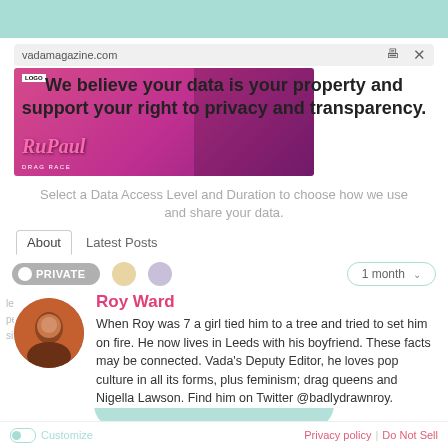[Figure (screenshot): Screenshot of a website vadamagazine.com with a RuPaul's Drag Race ad banner overlaid with a GDPR/privacy consent dialog]
We believe your data is your property and support your right to privacy and transparency.
Select a Data Access Level and Duration to choose how we use and share your data.
About   Latest Posts
PRIVATE   1 month
Roy Ward
When Roy was 7 a girl tied him to a tree and tried to set him on fire. He now lives in Leeds with his boyfriend. These facts may be connected. Vada's Deputy Editor, he loves pop culture in all its forms, plus feminism; drag queens and Nigella Lawson. Find him on Twitter @badlydrawnroy.
Customize   Privacy policy  |  Do Not Sell